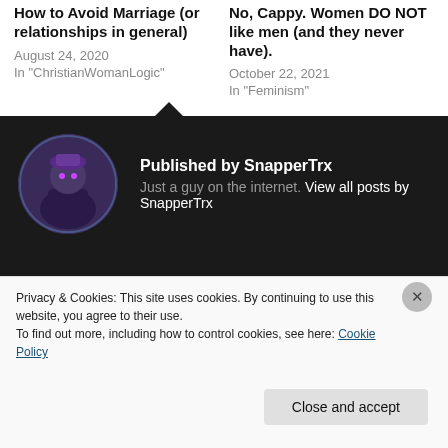How to Avoid Marriage (or relationships in general)
August 24, 2020
In "ChristianWomanLogic"
No, Cappy. Women DO NOT like men (and they never have).
October 22, 2021
In "Feminism"
Scriptural Conflicts
September 13, 2017
In "ChristianWomanLogic"
Published by SnapperTrx
Just a guy on the internet. View all posts by SnapperTrx
Privacy & Cookies: This site uses cookies. By continuing to use this website, you agree to their use.
To find out more, including how to control cookies, see here: Cookie Policy
Close and accept